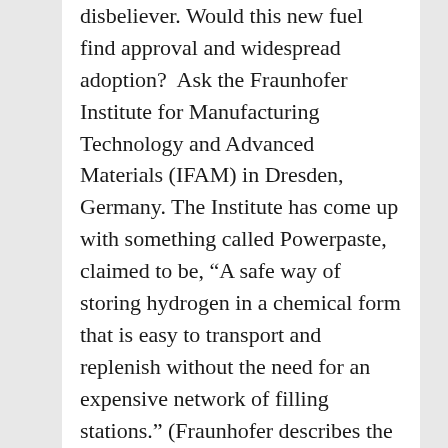disbeliever. Would this new fuel find approval and widespread adoption? Ask the Fraunhofer Institute for Manufacturing Technology and Advanced Materials (IFAM) in Dresden, Germany. The Institute has come up with something called Powerpaste, claimed to be, “A safe way of storing hydrogen in a chemical form that is easy to transport and replenish without the need for an expensive network of filling stations.” (Fraunhofer describes the paste as a “goop,” not to be confused with the very different fluids marketed by Gwyneth Paltrow under the “Goop” trade name.) We’ve seen hydrogen flying for several decades, with Michael Friend leading a …